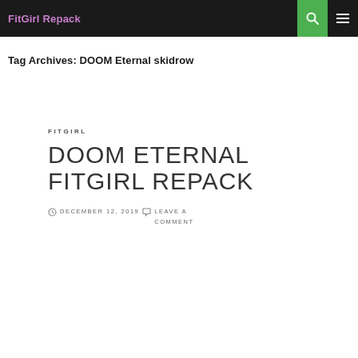FitGirl Repack
Tag Archives: DOOM Eternal skidrow
FITGIRL
DOOM ETERNAL FITGIRL REPACK
DECEMBER 12, 2019  LEAVE A COMMENT